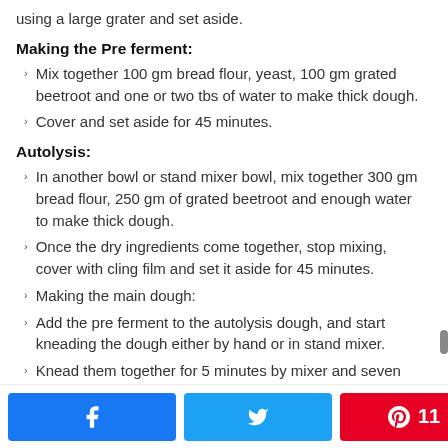using a large grater and set aside.
Making the Pre ferment:
Mix together 100 gm bread flour, yeast, 100 gm grated beetroot and one or two tbs of water to make thick dough.
Cover and set aside for 45 minutes.
Autolysis:
In another bowl or stand mixer bowl, mix together 300 gm bread flour, 250 gm of grated beetroot and enough water to make thick dough.
Once the dry ingredients come together, stop mixing, cover with cling film and set it aside for 45 minutes.
Making the main dough:
Add the pre ferment to the autolysis dough, and start kneading the dough either by hand or in stand mixer.
Knead them together for 5 minutes by mixer and seven minutes by hand.
< 11 SHARES (with Facebook, Twitter, Pinterest share buttons)